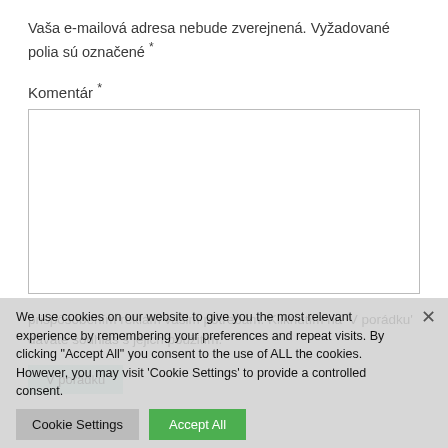Vaša e-mailová adresa nebude zverejnená. Vyžadované polia sú označené *
Komentár *
[Figure (screenshot): Empty comment text area input box with border]
We use cookies on our website to give you the most relevant experience by remembering your preferences and repeat visits. By clicking "Accept All" you consent to the use of ALL the cookies. However, you may visit 'Cookie Settings' to provide a controlled consent.
prispôsobením reklám vašim potrebám. Kliknutím na 'V porádku' dávate souhlas s jejich použitím.
Cookie Settings
Accept All
V porádku